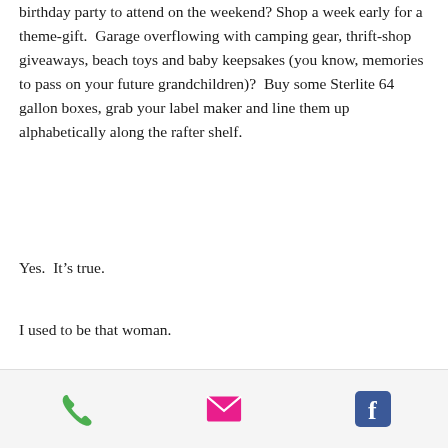birthday party to attend on the weekend? Shop a week early for a theme-gift.  Garage overflowing with camping gear, thrift-shop giveaways, beach toys and baby keepsakes (you know, memories to pass on your future grandchildren)?  Buy some Sterlite 64 gallon boxes, grab your label maker and line them up alphabetically along the rafter shelf.
Yes.  It's true.
I used to be that woman.
How things have changed since I've started a start-up!
[Figure (infographic): Footer bar with three icons: green phone icon, pink/magenta email envelope icon, and blue Facebook icon]